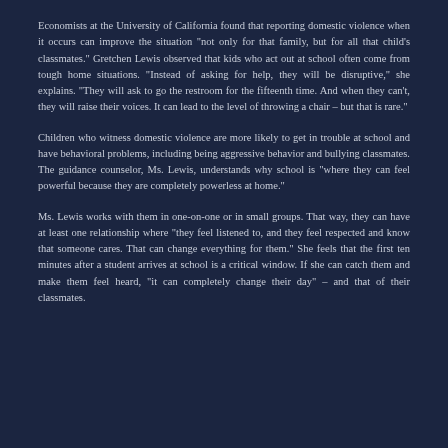Economists at the University of California found that reporting domestic violence when it occurs can improve the situation "not only for that family, but for all that child's classmates." Gretchen Lewis observed that kids who act out at school often come from tough home situations. "Instead of asking for help, they will be disruptive," she explains. "They will ask to go the restroom for the fifteenth time. And when they can't, they will raise their voices. It can lead to the level of throwing a chair – but that is rare."
Children who witness domestic violence are more likely to get in trouble at school and have behavioral problems, including being aggressive behavior and bullying classmates. The guidance counselor, Ms. Lewis, understands why school is "where they can feel powerful because they are completely powerless at home."
Ms. Lewis works with them in one-on-one or in small groups. That way, they can have at least one relationship where "they feel listened to, and they feel respected and know that someone cares. That can change everything for them." She feels that the first ten minutes after a student arrives at school is a critical window. If she can catch them and make them feel heard, "it can completely change their day" – and that of their classmates.